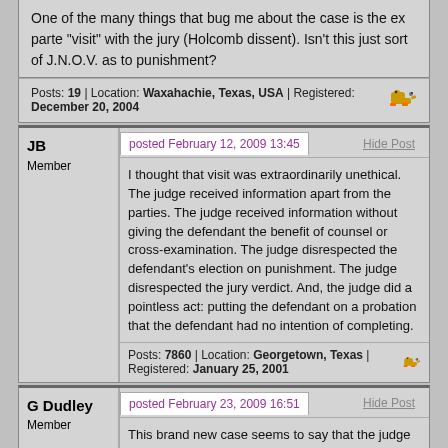One of the many things that bug me about the case is the ex parte "visit" with the jury (Holcomb dissent). Isn't this just sort of J.N.O.V. as to punishment?
Posts: 19 | Location: Waxahachie, Texas, USA | Registered: December 20, 2004
JB
Member
posted February 12, 2009 13:45
Hide Post
I thought that visit was extraordinarily unethical. The judge received information apart from the parties. The judge received information without giving the defendant the benefit of counsel or cross-examination. The judge disrespected the defendant's election on punishment. The judge disrespected the jury verdict. And, the judge did a pointless act: putting the defendant on a probation that the defendant had no intention of completing.
Posts: 7860 | Location: Georgetown, Texas | Registered: January 25, 2001
G Dudley
Member
posted February 23, 2009 16:51
Hide Post
This brand new case seems to say that the judge can probate the sentence, even over the defendant's objection, as long as it is not 3g and the jury's sentence does not exceed 10 years..... Ivey v. State --- S.W.3d ----, 2009 WL 322340 (Tex.Crim.App.)